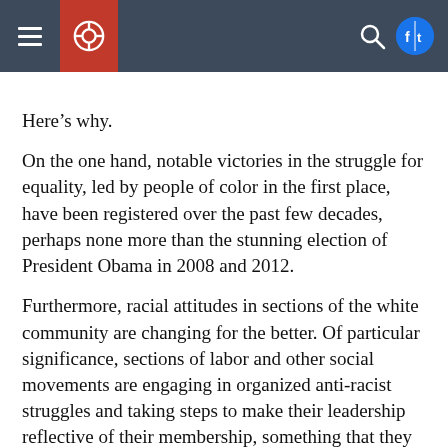Navigation bar with menu, logo, search, and social icons
Here’s why.
On the one hand, notable victories in the struggle for equality, led by people of color in the first place, have been registered over the past few decades, perhaps none more than the stunning election of President Obama in 2008 and 2012.
Furthermore, racial attitudes in sections of the white community are changing for the better. Of particular significance, sections of labor and other social movements are engaging in organized anti-racist struggles and taking steps to make their leadership reflective of their membership, something that they didn’t do decades ago,
S...